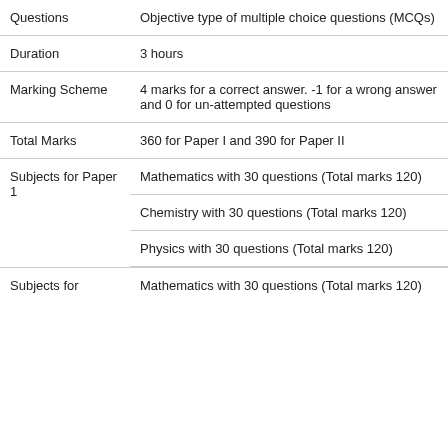| Field | Details |
| --- | --- |
| Questions | Objective type of multiple choice questions (MCQs) |
| Duration | 3 hours |
| Marking Scheme | 4 marks for a correct answer. -1 for a wrong answer and 0 for un-attempted questions |
| Total Marks | 360 for Paper I and 390 for Paper II |
| Subjects for Paper 1 | Mathematics with 30 questions (Total marks 120)
Chemistry with 30 questions (Total marks 120)
Physics with 30 questions (Total marks 120) |
| Subjects for | Mathematics with 30 questions (Total marks 120) |